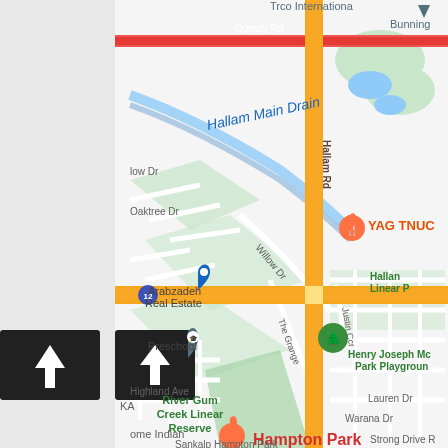[Figure (map): Google Maps screenshot showing Hampton Park area in Melbourne, Australia. Features Hallam Rd (vertical yellow road), a red horizontal road (Ogrady Rd area), Hallam Main Drain waterway in blue, various street labels including Oaktree Dr, Willow Dr, Highland Ave, Lauren Dr, Warana Dr, Strong Drive. Location markers for Arabzadeh Real Estate, YAG TNUC restaurant, Hallam Linear Park/Reserve, Henry Joseph Mc Park Playground, River Gum Creek Linear Reserve, a preschool, home Indian restaurant, Sankalp Hampton Park. Hampton Park label in red text. Navigation arrow button at bottom left.]